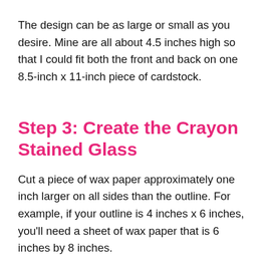The design can be as large or small as you desire. Mine are all about 4.5 inches high so that I could fit both the front and back on one 8.5-inch x 11-inch piece of cardstock.
Step 3: Create the Crayon Stained Glass
Cut a piece of wax paper approximately one inch larger on all sides than the outline. For example, if your outline is 4 inches x 6 inches, you'll need a sheet of wax paper that is 6 inches by 8 inches.